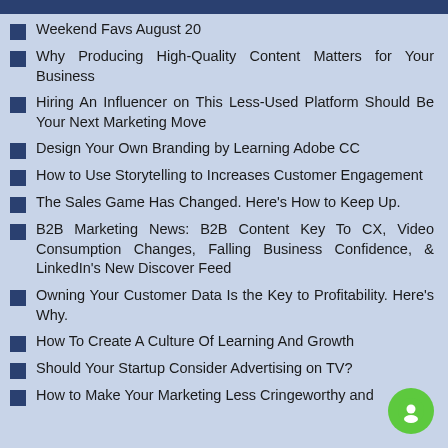Weekend Favs August 20
Why Producing High-Quality Content Matters for Your Business
Hiring An Influencer on This Less-Used Platform Should Be Your Next Marketing Move
Design Your Own Branding by Learning Adobe CC
How to Use Storytelling to Increases Customer Engagement
The Sales Game Has Changed. Here's How to Keep Up.
B2B Marketing News: B2B Content Key To CX, Video Consumption Changes, Falling Business Confidence, & LinkedIn's New Discover Feed
Owning Your Customer Data Is the Key to Profitability. Here's Why.
How To Create A Culture Of Learning And Growth
Should Your Startup Consider Advertising on TV?
How to Make Your Marketing Less Cringeworthy and